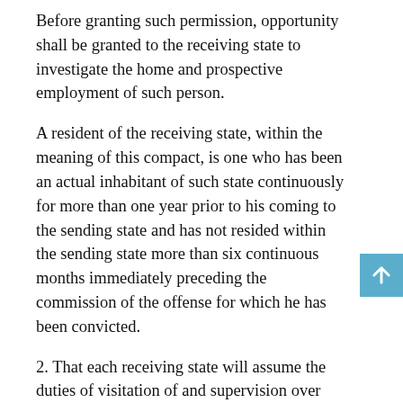Before granting such permission, opportunity shall be granted to the receiving state to investigate the home and prospective employment of such person.
A resident of the receiving state, within the meaning of this compact, is one who has been an actual inhabitant of such state continuously for more than one year prior to his coming to the sending state and has not resided within the sending state more than six continuous months immediately preceding the commission of the offense for which he has been convicted.
2. That each receiving state will assume the duties of visitation of and supervision over probationers or parolees of any sending state and in the exercise of those duties will be governed by the same standards that prevail for its own probationers and parolees.
3. That duly accredited officers of a sending state may at all times enter a receiving state and there apprehend and retake any person on probation or parole. For that